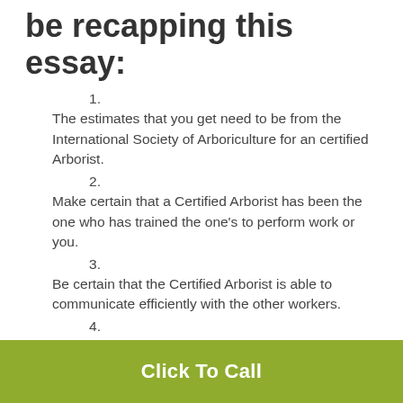be recapping this essay:
1. The estimates that you get need to be from the International Society of Arboriculture for an certified Arborist.
2. Make certain that a Certified Arborist has been the one who has trained the one's to perform work or you.
3. Be certain that the Certified Arborist is able to communicate efficiently with the other workers.
4. Take time to search with Angieslist.com, arizonabbb.org, and Yelp.
This type of research should not have to be performed often. Once you locate a company that you like, hang on to them.
Click To Call